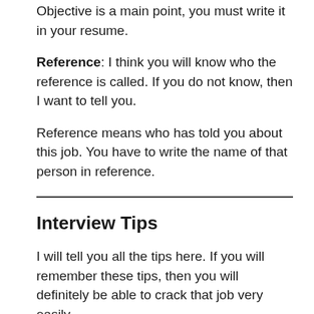Objective is a main point, you must write it in your resume.
Reference: I think you will know who the reference is called. If you do not know, then I want to tell you.
Reference means who has told you about this job. You have to write the name of that person in reference.
Interview Tips
I will tell you all the tips here. If you will remember these tips, then you will definitely be able to crack that job very easily.